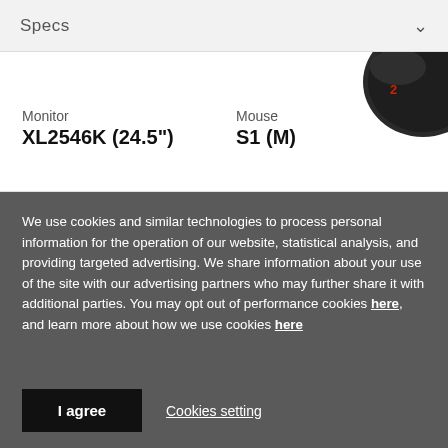Specs
[Figure (photo): Partial view of a dark gaming mouse with red ZOWIE logo on the right side of the page]
Monitor
XL2546K (24.5")
Mouse
S1 (M)
We use cookies and similar technologies to process personal information for the operation of our website, statistical analysis, and providing targeted advertising. We share information about your use of the site with our advertising partners who may further share it with additional parties. You may opt out of performance cookies here, and learn more about how we use cookies here
I agree
Cookies setting